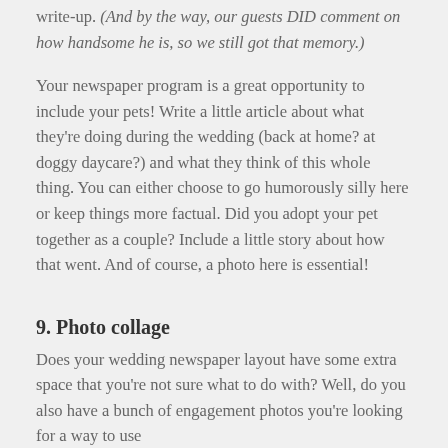write-up. (And by the way, our guests DID comment on how handsome he is, so we still got that memory.)
Your newspaper program is a great opportunity to include your pets! Write a little article about what they're doing during the wedding (back at home? at doggy daycare?) and what they think of this whole thing. You can either choose to go humorously silly here or keep things more factual. Did you adopt your pet together as a couple? Include a little story about how that went. And of course, a photo here is essential!
9. Photo collage
Does your wedding newspaper layout have some extra space that you're not sure what to do with? Well, do you also have a bunch of engagement photos you're looking for a way to use